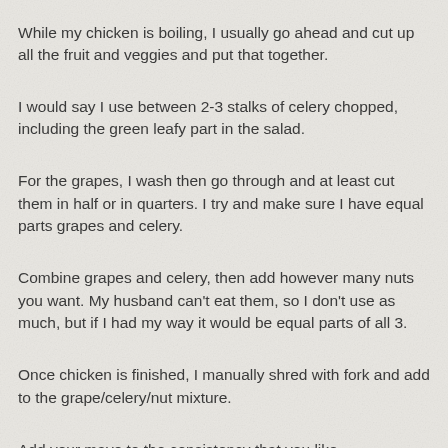While my chicken is boiling, I usually go ahead and cut up all the fruit and veggies and put that together.
I would say I use between 2-3 stalks of celery chopped, including the green leafy part in the salad.
For the grapes, I wash then go through and at least cut them in half or in quarters. I try and make sure I have equal parts grapes and celery.
Combine grapes and celery, then add however many nuts you want. My husband can't eat them, so I don't use as much, but if I had my way it would be equal parts of all 3.
Once chicken is finished, I manually shred with fork and add to the grape/celery/nut mixture.
Add your mayo to the consistency that you like.
I sprinkle in some celery seed, salt, and pepper.
I then sprinkle in my ranch dressing mix, tasting it as I go to make sure that I don't add too much.